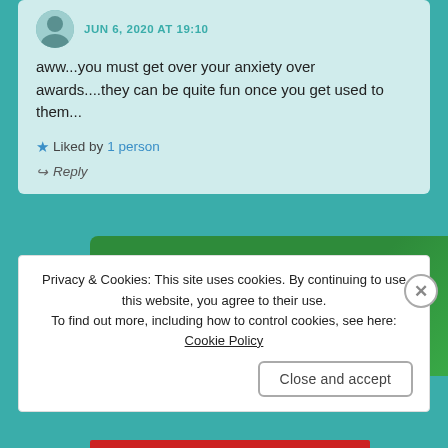JUN 6, 2020 AT 19:10
aww...you must get over your anxiety over awards....they can be quite fun once you get used to them...
★ Liked by 1 person
↪ Reply
[Figure (infographic): Green banner advertisement: 'The best real-time WordPress backup plugin']
Privacy & Cookies: This site uses cookies. By continuing to use this website, you agree to their use.
To find out more, including how to control cookies, see here: Cookie Policy
Close and accept